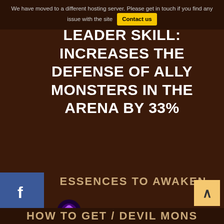We have moved to a different hosting server. Please get in touch if you find any issue with the site  Contact us
LEADER SKILL: INCREASES THE DEFENSE OF ALLY MONSTERS IN THE ARENA BY 33%
ESSENCES TO AWAKEN
10x Essence of Darkness (High)
20x Essence of Darkness (Mid)
5x Essence of Magic (High)
15x Essence of Magic (Mid)
HOW TO GET / DEVIL MONS...